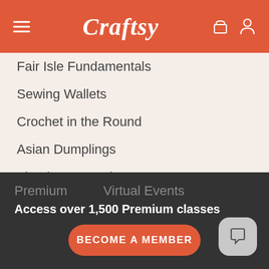Craftsy
Fair Isle Fundamentals
Sewing Wallets
Crochet in the Round
Asian Dumplings
Thank-You Cards
All FREE Classes
LIVE Streaming Events
FREE LIVE Tutorials
Craftsy Chats
Premium
Virtual Events
Access over 1,500 Premium classes
BECOME A MEMBER